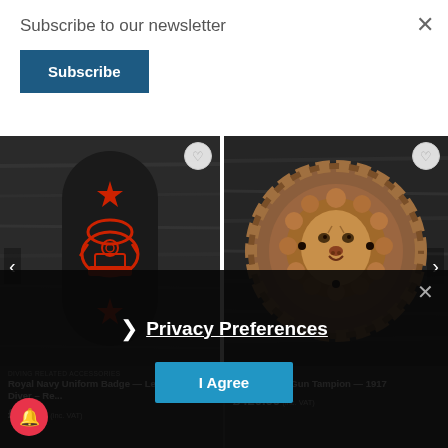Subscribe to our newsletter
Subscribe
[Figure (photo): Royal Navy uniform badge on dark fabric with red embroidered diver helmet and two stars]
[Figure (photo): HMS Taurus gun tampion 1917 - bronze lion head medallion on dark wood]
DIVING RELATED ACCESSORIES
Royal Navy Uniform Badge — Leading Rate Diver – Re...
£15.00 (inc. VAT)
SHIPS BADGE
HMS Taurus Gun Tampion — 1917
£420.00 (inc. VAT)
Privacy Preferences
I Agree